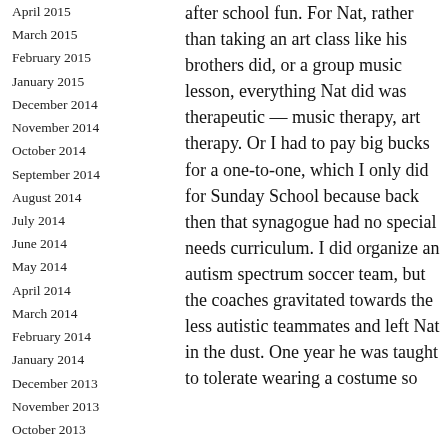April 2015
March 2015
February 2015
January 2015
December 2014
November 2014
October 2014
September 2014
August 2014
July 2014
June 2014
May 2014
April 2014
March 2014
February 2014
January 2014
December 2013
November 2013
October 2013
September 2013
August 2013
May 2013
April 2013
March 2013
after school fun. For Nat, rather than taking an art class like his brothers did, or a group music lesson, everything Nat did was therapeutic — music therapy, art therapy. Or I had to pay big bucks for a one-to-one, which I only did for Sunday School because back then that synagogue had no special needs curriculum. I did organize an autism spectrum soccer team, but the coaches gravitated towards the less autistic teammates and left Nat in the dust. One year he was taught to tolerate wearing a costume so